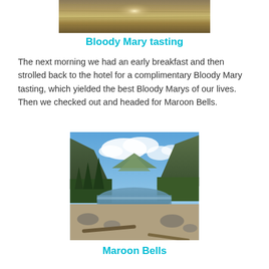[Figure (photo): Top portion of a photo showing a wooden surface with bright light reflection, warm golden-brown tones]
Bloody Mary tasting
The next morning we had an early breakfast and then strolled back to the hotel for a complimentary Bloody Mary tasting, which yielded the best Bloody Marys of our lives. Then we checked out and headed for Maroon Bells.
[Figure (photo): Scenic view of Maroon Bells area: a lake in a mountain valley with tall evergreen trees, mountains with snow patches in the background, and rocks and logs in the foreground]
Maroon Bells